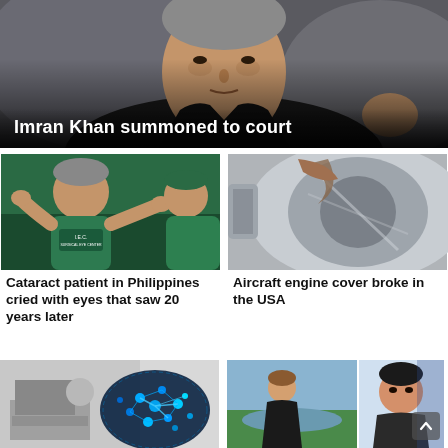[Figure (photo): Close-up photo of Imran Khan, an older man wearing a black jacket, with hands slightly raised]
Imran Khan summoned to court
[Figure (photo): Medical photo of a doctor in green scrubs with arms raised, in a clinical setting]
Cataract patient in Philippines cried with eyes that saw 20 years later
[Figure (photo): Close-up photo of an aircraft engine cover, damaged or open, metallic parts visible]
Aircraft engine cover broke in the USA
[Figure (photo): Black and white historical photo of a woman at a computer, overlaid with a blue glowing digital brain/network illustration]
[Figure (photo): Two photos side by side: a woman standing outdoors near water, and a passport-style photo of another woman]